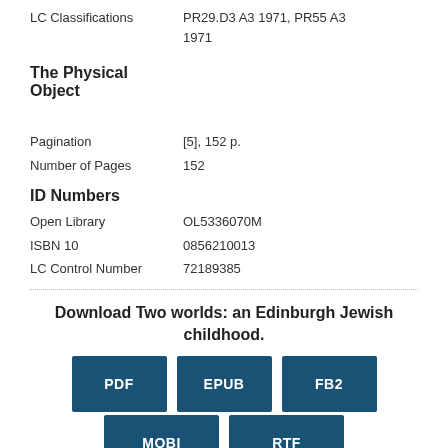| LC Classifications | PR29.D3 A3 1971, PR55 A3 1971 |
The Physical Object
| Pagination | [5], 152 p. |
| Number of Pages | 152 |
ID Numbers
| Open Library | OL5336070M |
| ISBN 10 | 0856210013 |
| LC Control Number | 72189385 |
Download Two worlds: an Edinburgh Jewish childhood.
PDF EPUB FB2 MOBI RTF